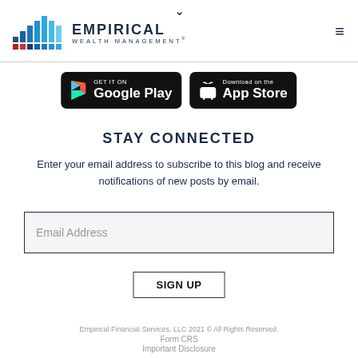[Figure (logo): Empirical Wealth Management logo with blue grid/bar icon and navy text]
[Figure (screenshot): Google Play and App Store download buttons side by side]
STAY CONNECTED
Enter your email address to subscribe to this blog and receive notifications of new posts by email.
Email Address
SIGN UP
Empirical Financial Services, LLC 2021 © All Rights Reserved.
Form CRS
Important Disclosure